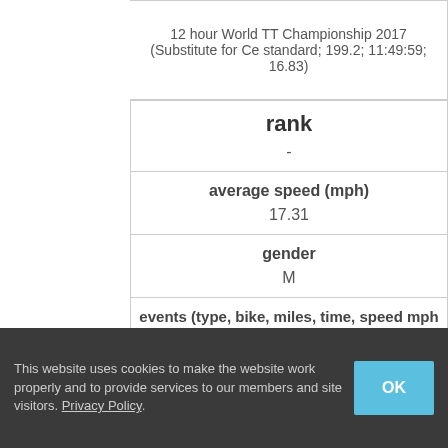12 hour World TT Championship 2017 (Substitute for Ce standard; 199.2; 11:49:59; 16.83)
| rank | - |
| average speed (mph) | 17.31 |
| gender | M |
| events (type, bike, miles, time, speed mph) | Big Jays Fat Ass 12-hour Race 2017 (12 Hour Race; sta 12:00:00; 17.8)
12 hour World TT Championship 2017 (Substitute for Ce standard; 199.2; 11:49:59; 16.83) |
This website uses cookies to make the website work properly and to provide services to our members and site visitors. Privacy Policy.